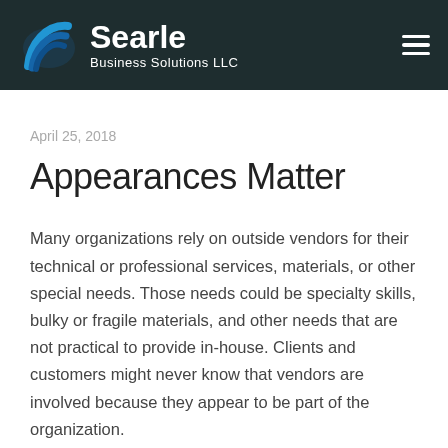Searle Business Solutions LLC
April 25, 2018
Appearances Matter
Many organizations rely on outside vendors for their technical or professional services, materials, or other special needs. Those needs could be specialty skills, bulky or fragile materials, and other needs that are not practical to provide in-house. Clients and customers might never know that vendors are involved because they appear to be part of the organization.